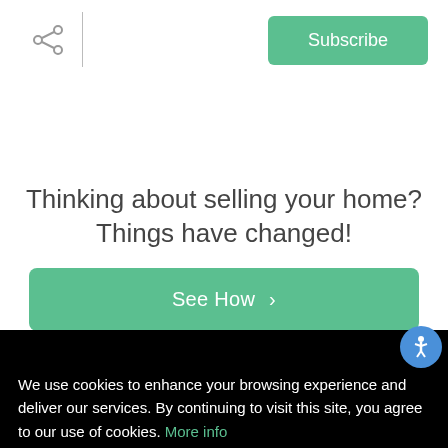[Figure (illustration): Share icon (three connected dots) on the left, a vertical divider line, and a teal Subscribe button on the right]
Thinking about selling your home? Things have changed!
[Figure (illustration): Teal button with text See How and a right chevron arrow]
[Figure (logo): Dark bar with red circle logo and partially visible grey text logo]
Leatherman Homes
Search for Homes
We use cookies to enhance your browsing experience and deliver our services. By continuing to visit this site, you agree to our use of cookies. More info
OK